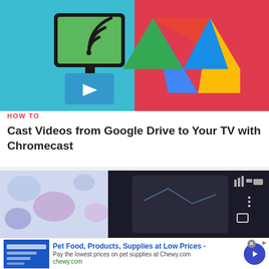[Figure (illustration): Article thumbnail showing Google Cast/Chromecast icon on left with teal background and Google Drive logo on right with colorful triangular logo on red/pink background]
HOW TO
Cast Videos from Google Drive to Your TV with Chromecast
[Figure (photo): Photo of a smartphone with stickers on a table, showing a dark screen]
[Figure (infographic): Advertisement for Chewy.com - Pet Food, Products, Supplies at Low Prices. Pay the lowest prices on pet supplies at Chewy.com. chewy.com]